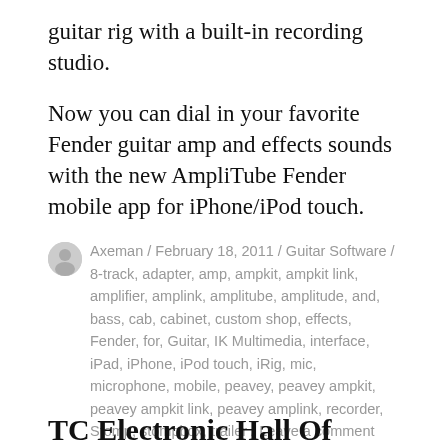guitar rig with a built-in recording studio.
Now you can dial in your favorite Fender guitar amp and effects sounds with the new AmpliTube Fender mobile app for iPhone/iPod touch.
Axeman / February 18, 2011 / Guitar Software / 8-track, adapter, amp, ampkit, ampkit link, amplifier, amplink, amplitube, amplitude, and, bass, cab, cabinet, custom shop, effects, Fender, for, Guitar, IK Multimedia, interface, iPad, iPhone, iPod touch, iRig, mic, microphone, mobile, peavey, peavey ampkit, peavey ampkit link, peavey amplink, recorder, Stomp, stompbox, trailer / Leave a comment
TC Electronic Hall Of